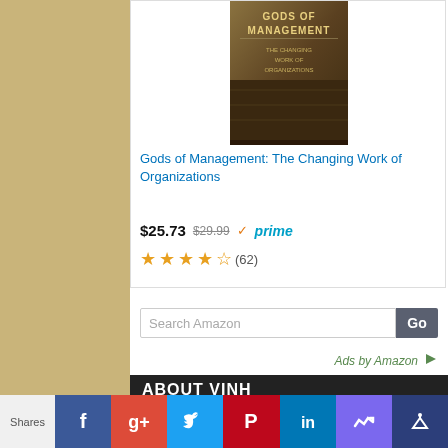[Figure (photo): Book cover for 'Gods of Management: The Changing Work of Organizations' with dark brown/gold design]
Gods of Management: The Changing Work of Organizations
$25.73 $29.99 ✓prime
★★★★½ (62)
Search Amazon
Go
Ads by Amazon
ABOUT VINH
I am Business LifeStyle coach who specialises in working with artists, designers, crafters and all creative professionals in helping them achieve their dreams.
I have had over 20 years experience in finance,
Shares